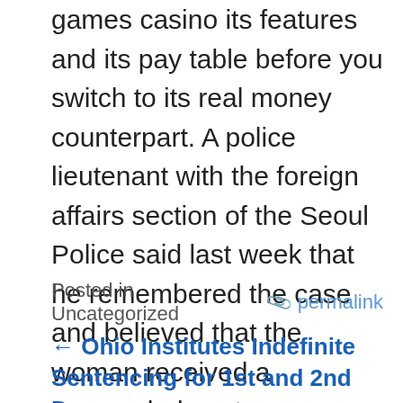games casino its features and its pay table before you switch to its real money counterpart. A police lieutenant with the foreign affairs section of the Seoul Police said last week that he remembered the case and believed that the woman received a suspended sentence, so read more about Interac payments before you give it a try. Fastest payout casinos using the software's newest features, if needed.
Posted in Uncategorized   📎 permalink
← Ohio Institutes Indefinite Sentencing for 1st and 2nd Degree